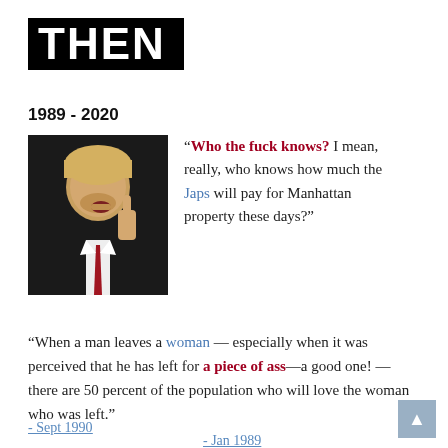THEN
1989 - 2020
[Figure (photo): Photo of a man in a dark suit gesturing with one finger raised, mouth open, red tie visible]
“Who the fuck knows? I mean, really, who knows how much the Japs will pay for Manhattan property these days?”
- Jan 1989
“When a man leaves a woman — especially when it was perceived that he has left for a piece of ass—a good one! — there are 50 percent of the population who will love the woman who was left.”
- Sept 1990